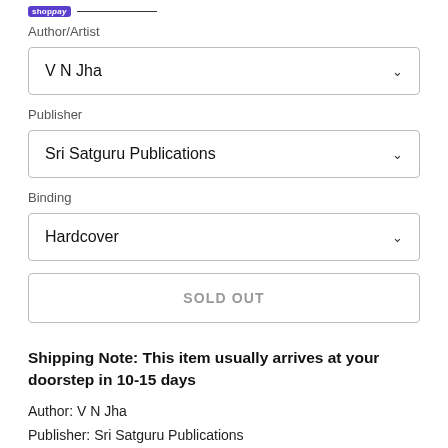Author/Artist
V N Jha
Publisher
Sri Satguru Publications
Binding
Hardcover
SOLD OUT
Shipping Note: This item usually arrives at your doorstep in 10-15 days
Author: V N Jha
Publisher: Sri Satguru Publications